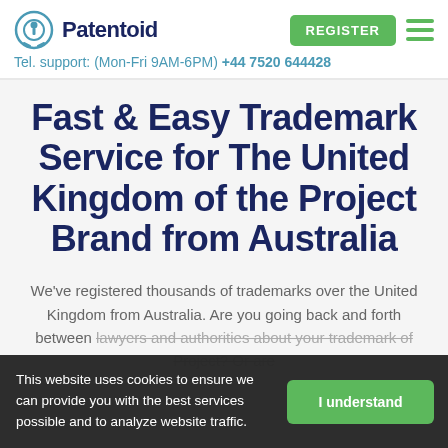Patentoid | Tel. support: (Mon-Fri 9AM-6PM) +44 7520 644428
Fast & Easy Trademark Service for The United Kingdom of the Project Brand from Australia
We've registered thousands of trademarks over the United Kingdom from Australia. Are you going back and forth between lawyers and authorities about your trademark of Project? Or are
This website uses cookies to ensure we can provide you with the best services possible and to analyze website traffic.